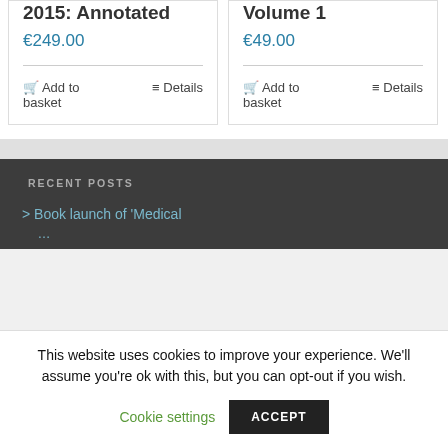2015: Annotated
€249.00
Add to basket
Details
Volume 1
€49.00
Add to basket
Details
RECENT POSTS
Book launch of 'Medical …'
This website uses cookies to improve your experience. We'll assume you're ok with this, but you can opt-out if you wish.
Cookie settings
ACCEPT